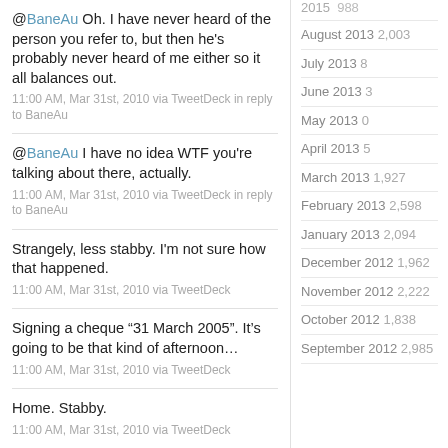@BaneAu Oh. I have never heard of the person you refer to, but then he's probably never heard of me either so it all balances out.
11:00 AM, Mar 31st, 2010 via TweetDeck in reply to BaneAu
@BaneAu I have no idea WTF you're talking about there, actually.
11:00 AM, Mar 31st, 2010 via TweetDeck in reply to BaneAu
Strangely, less stabby. I'm not sure how that happened.
11:00 AM, Mar 31st, 2010 via TweetDeck
Signing a cheque “31 March 2005”. It’s going to be that kind of afternoon…
11:00 AM, Mar 31st, 2010 via TweetDeck
Home. Stabby.
11:00 AM, Mar 31st, 2010 via TweetDeck
2015 988
August 2013 2,003
July 2013 8
June 2013 3
May 2013 0
April 2013 5
March 2013 1,927
February 2013 2,598
January 2013 2,094
December 2012 1,962
November 2012 2,222
October 2012 1,838
September 2012 2,985